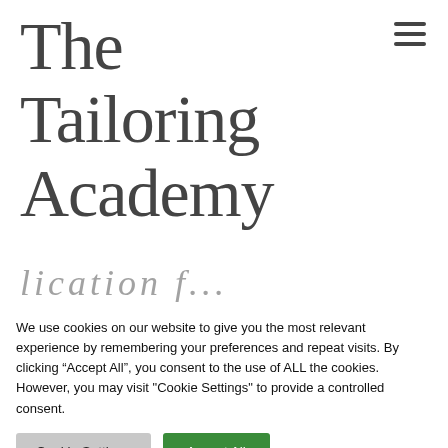The Tailoring Academy
[Figure (other): Hamburger menu icon (three horizontal lines) in top right corner]
lication f...
We use cookies on our website to give you the most relevant experience by remembering your preferences and repeat visits. By clicking “Accept All”, you consent to the use of ALL the cookies. However, you may visit "Cookie Settings" to provide a controlled consent.
... on this site we will assume that you are happy with it.
Cookie Settings
Accept All
Ok